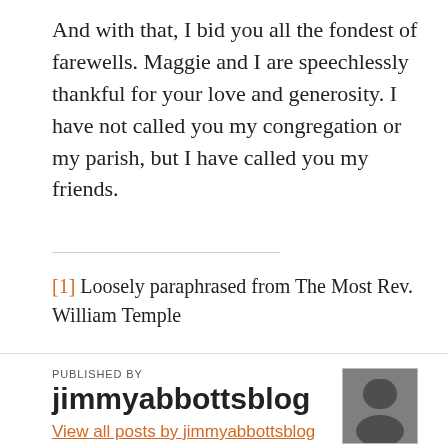And with that, I bid you all the fondest of farewells. Maggie and I are speechlessly thankful for your love and generosity. I have not called you my congregation or my parish, but I have called you my friends.
[1] Loosely paraphrased from The Most Rev. William Temple
PUBLISHED BY
jimmyabbottsblog
View all posts by jimmyabbottsblog
MAY 27, 2012
3 COMMENTS
SHARE: